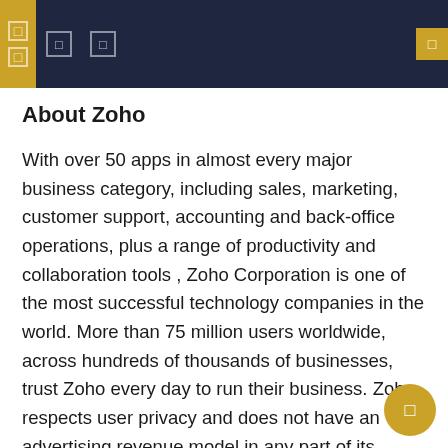Navigation header bar with menu icons
About Zoho
With over 50 apps in almost every major business category, including sales, marketing, customer support, accounting and back-office operations, plus a range of productivity and collaboration tools , Zoho Corporation is one of the most successful technology companies in the world. More than 75 million users worldwide, across hundreds of thousands of businesses, trust Zoho every day to run their business. Zoho respects user privacy and does not have an advertising revenue model in any part of its